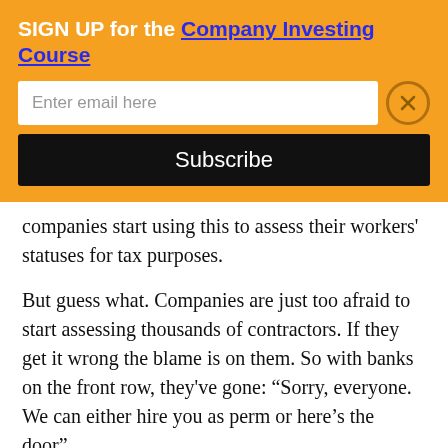SIGN UP for the Company Investing Course
companies start using this to assess their workers' statuses for tax purposes.
But guess what. Companies are just too afraid to start assessing thousands of contractors. If they get it wrong the blame is on them. So with banks on the front row, they've gone: “Sorry, everyone. We can either hire you as perm or here’s the door”.
It kind of makes sense. When you’re a big place you have dozens of projects that you want to kick off and shut down quickly. You want to hire/fire in a